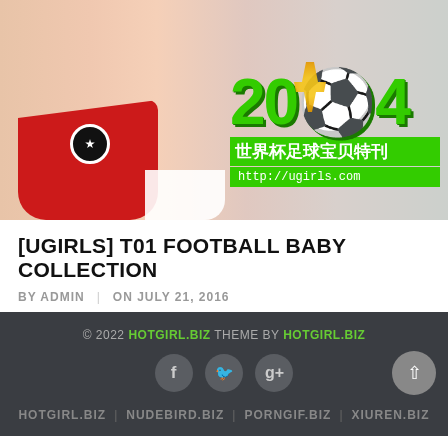[Figure (photo): Hero banner image showing women in sports/swimwear with 2014 FIFA World Cup branding overlay, green '2014' text with World Cup trophy logo, Chinese characters '世界杯足球宝贝特刊', and URL http://ugirls.com on green bar]
[UGIRLS] T01 FOOTBALL BABY COLLECTION
BY ADMIN | ON JULY 21, 2016
© 2022 HOTGIRL.BIZ THEME BY HOTGIRL.BIZ
HOTGIRL.BIZ | NUDEBIRD.BIZ | PORNGIF.BIZ | XIUREN.BIZ